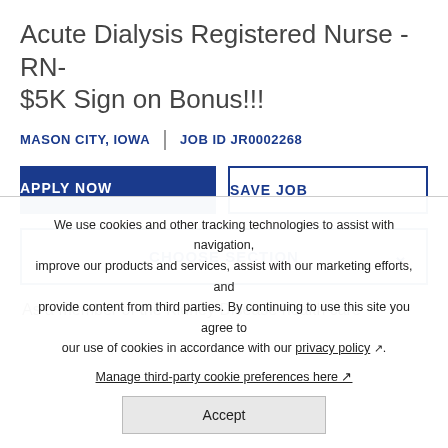Acute Dialysis Registered Nurse - RN- $5K Sign on Bonus!!!
MASON CITY, IOWA | JOB ID JR0002268
APPLY NOW | SAVE JOB
CHOOSE SECTION
As a member of the Kidney Disease health care
We use cookies and other tracking technologies to assist with navigation, improve our products and services, assist with our marketing efforts, and provide content from third parties. By continuing to use this site you agree to our use of cookies in accordance with our privacy policy ↗. Manage third-party cookie preferences here ↗.
Accept